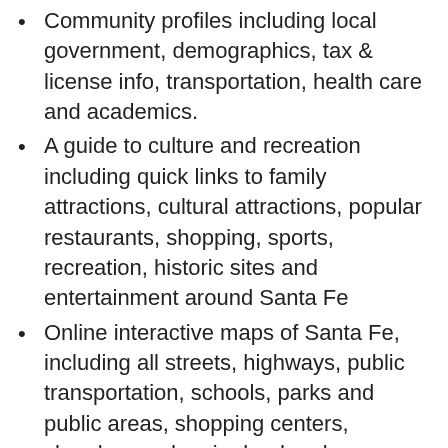Community profiles including local government, demographics, tax & license info, transportation, health care and academics.
A guide to culture and recreation including quick links to family attractions, cultural attractions, popular restaurants, shopping, sports, recreation, historic sites and entertainment around Santa Fe
Online interactive maps of Santa Fe, including all streets, highways, public transportation, schools, parks and public areas, shopping centers, churches and major landmarks.
Plus, we will email you a selection of real estate listings based on your list of requirements and our comprehensive knowledge and insight of the Santa Fe market, trends and long term investments.